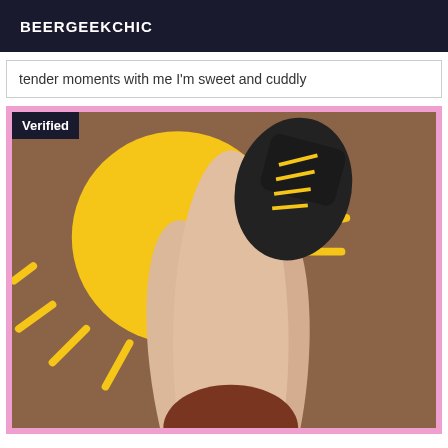BEERGEEKCHIC
tender moments with me I'm sweet and cuddly
[Figure (photo): Photo with pink border and 'Verified' badge overlay. Shows a person lying down with a decorative sun graphic overlaid in the upper left area. Brown/tan background tones.]